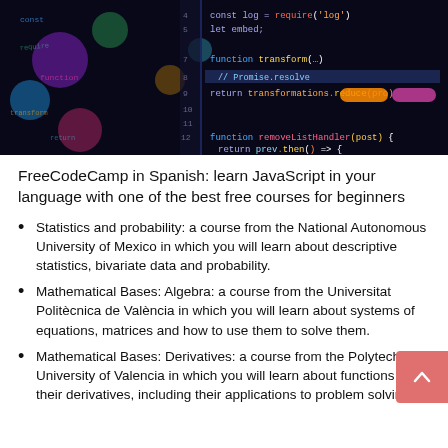[Figure (photo): Dark-themed code editor screenshot showing colorful JavaScript/Node.js syntax highlighting with function definitions, require statements, and return statements on a black background.]
FreeCodeCamp in Spanish: learn JavaScript in your language with one of the best free courses for beginners
Statistics and probability: a course from the National Autonomous University of Mexico in which you will learn about descriptive statistics, bivariate data and probability.
Mathematical Bases: Algebra: a course from the Universitat Politècnica de València in which you will learn about systems of equations, matrices and how to use them to solve them.
Mathematical Bases: Derivatives: a course from the Polytechnic University of Valencia in which you will learn about functions and their derivatives, including their applications to problem solving.